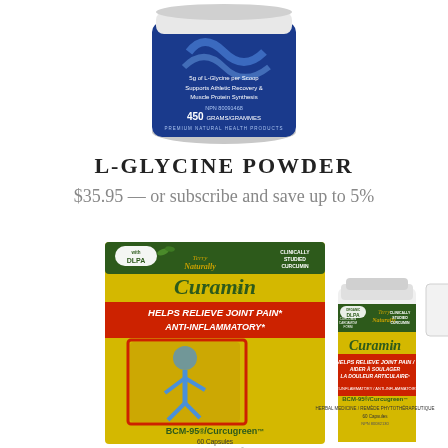[Figure (photo): Blue container of L-Glycine Powder supplement, 450 grams, NPN 80091468, showing partial label with text about 5g L-Glycine per Scoop, Supports Athletic Recovery & Muscle Protein Synthesis, Premium Natural Health Products]
L-GLYCINE POWDER
$35.95 — or subscribe and save up to 5%
[Figure (photo): Terry Naturally Canada Curamin product shown as large yellow box and smaller bottle. Box reads: with DLPA, Clinically Studied Curcumin, Helps Relieve Joint Pain*, Anti-Inflammatory*, BCM-95/Curcugreen, 60 Capsules, Herbal Medicine. Bottle reads: Organic DLPA, Curcumin Cardamom Form, Terry Naturally Canada, Clinically Studied Curcumin, Curamin, Helps Relieve Joint Pain / Aider à Soulager La Douleur Articulaire, Anti-Inflammatory / Anti-Inflammatoire, BCM-95/Curcugreen, Herbal Medicine / Remède Phytothérapeutique, 60 Capsules, NPN 80082130. Also shows a scroll-to-top button icon (grey square with upward arrow).]